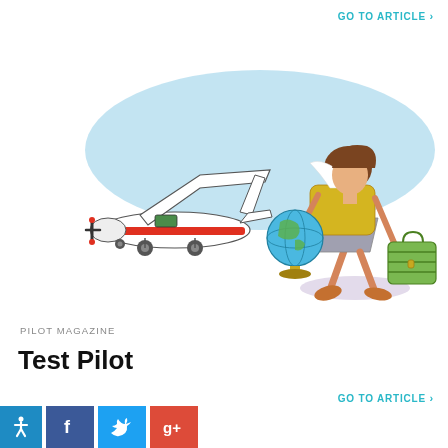GO TO ARTICLE >
[Figure (illustration): Cartoon illustration of a woman in a yellow top and grey skirt holding a globe and a green suitcase, walking away from a small red and white propeller airplane, with a light blue oval shape behind them suggesting sky.]
PILOT MAGAZINE
Test Pilot
GO TO ARTICLE >